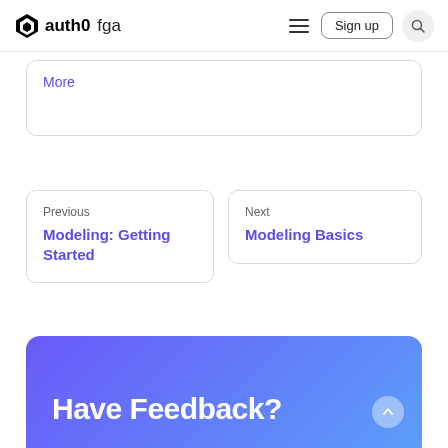auth0 fga — navigation bar with Sign up and Search
More
Previous
Modeling: Getting Started
Next
Modeling Basics
Have Feedback?